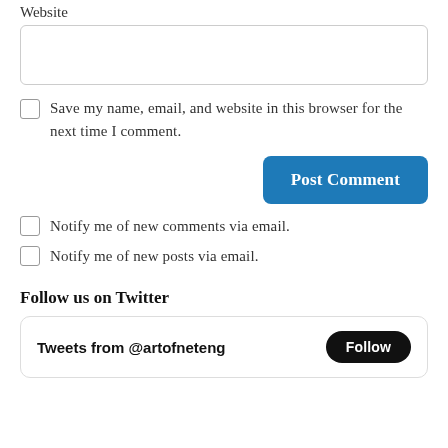Website
Save my name, email, and website in this browser for the next time I comment.
Post Comment
Notify me of new comments via email.
Notify me of new posts via email.
Follow us on Twitter
Tweets from @artofneteng Follow